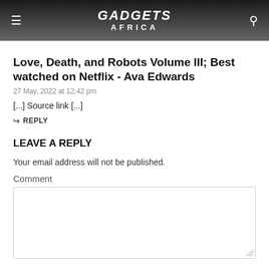GADGETS AFRICA
Love, Death, and Robots Volume III; Best watched on Netflix - Ava Edwards
27 May, 2022 at 12:42 pm
[...] Source link [...]
↩ REPLY
LEAVE A REPLY
Your email address will not be published.
Comment